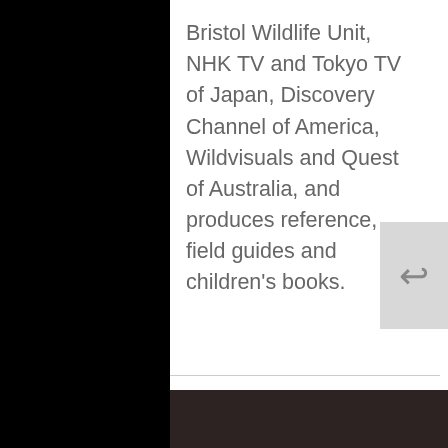Bristol Wildlife Unit, NHK TV and Tokyo TV of Japan, Discovery Channel of America, Wildvisuals and Quest of Australia, and produces reference, field guides and children's books.
CONTACT INFORMATION
ADDRESS:
Level 1, 172 Fox Valley Road, Wahroonga...